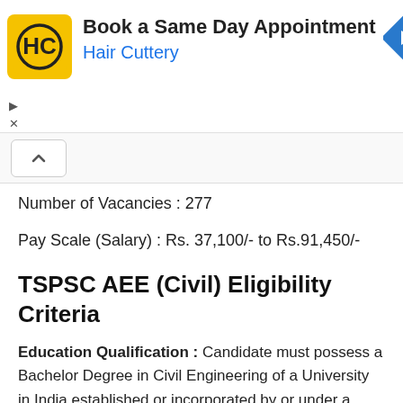[Figure (other): Advertisement banner for Hair Cuttery with logo, text 'Book a Same Day Appointment', 'Hair Cuttery', and a navigation arrow icon]
Number of Vacancies : 277
Pay Scale (Salary) : Rs. 37,100/- to Rs.91,450/-
TSPSC AEE (Civil) Eligibility Criteria
Education Qualification : Candidate must possess a Bachelor Degree in Civil Engineering of a University in India established or incorporated by or under a Central act, Provincial act or a State act or an Institution recognized by